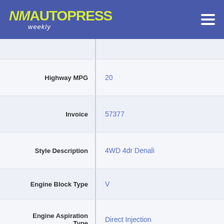NM Autopress Weekly
| Field | Value |
| --- | --- |
|  |  |
| Highway MPG | 20 |
| Invoice | 57377 |
| Style Description | 4WD 4dr Denali |
| Engine Block Type | V |
| Engine Aspiration Type | Direct Injection |
| Engine Description | Gas V8 6.2L/376 |